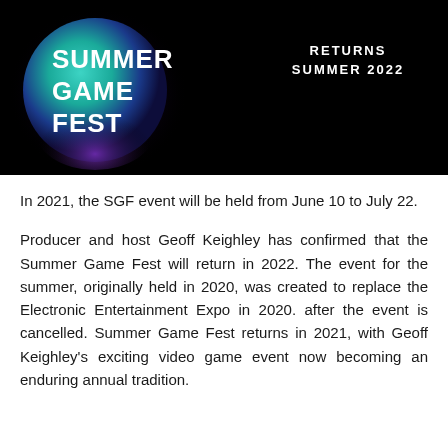[Figure (illustration): Summer Game Fest promotional banner with a teal/purple glowing globe on a black background. Text reads 'SUMMER GAME FEST' on the left and 'RETURNS SUMMER 2022' on the upper right.]
In 2021, the SGF event will be held from June 10 to July 22.
Producer and host Geoff Keighley has confirmed that the Summer Game Fest will return in 2022. The event for the summer, originally held in 2020, was created to replace the Electronic Entertainment Expo in 2020. after the event is cancelled. Summer Game Fest returns in 2021, with Geoff Keighley's exciting video game event now becoming an enduring annual tradition.